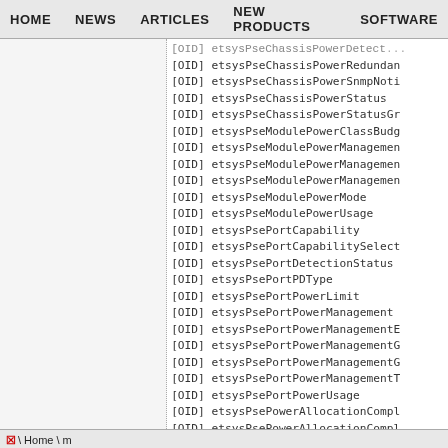HOME  NEWS  ARTICLES  NEW PRODUCTS  SOFTWARE
[OID] etsysPseChassisPowerDetect...
[OID] etsysPseChassisPowerRedundan...
[OID] etsysPseChassisPowerSnmpNoti...
[OID] etsysPseChassisPowerStatus
[OID] etsysPseChassisPowerStatusGr...
[OID] etsysPseModulePowerClassBudg...
[OID] etsysPseModulePowerManagemen...
[OID] etsysPseModulePowerManagemen...
[OID] etsysPseModulePowerManagemen...
[OID] etsysPseModulePowerMode
[OID] etsysPseModulePowerUsage
[OID] etsysPsePortCapability
[OID] etsysPsePortCapabilitySelect...
[OID] etsysPsePortDetectionStatus
[OID] etsysPsePortPDType
[OID] etsysPsePortPowerLimit
[OID] etsysPsePortPowerManagement
[OID] etsysPsePortPowerManagementE...
[OID] etsysPsePortPowerManagementG...
[OID] etsysPsePortPowerManagementG...
[OID] etsysPsePortPowerManagementT...
[OID] etsysPsePortPowerUsage
[OID] etsysPsePowerAllocationCompl...
[OID] etsysPsePowerAllocationCompl...
[OID] etsysPsePowerAllocationCompl...
[OID] etsysPsePowerAllocationCompl...
\ Home \ m